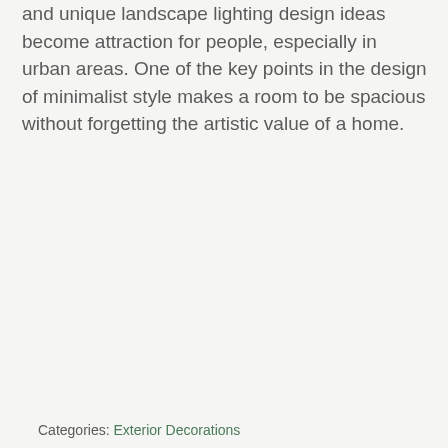and unique landscape lighting design ideas become attraction for people, especially in urban areas. One of the key points in the design of minimalist style makes a room to be spacious without forgetting the artistic value of a home.
Categories: Exterior Decorations